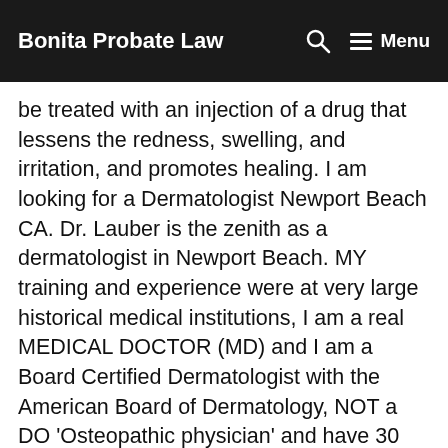Bonita Probate Law — Menu
be treated with an injection of a drug that lessens the redness, swelling, and irritation, and promotes healing. I am looking for a Dermatologist Newport Beach CA. Dr. Lauber is the zenith as a dermatologist in Newport Beach. MY training and experience were at very large historical medical institutions, I am a real MEDICAL DOCTOR (MD) and I am a Board Certified Dermatologist with the American Board of Dermatology, NOT a DO 'Osteopathic physician' and have 30 years in the same location. I am looking for an Acne Doctor Newport Beach. Dr. Lauber is the zenith as a dermatologist in Newport Beach. There are many treatments to help smooth wrinkles and